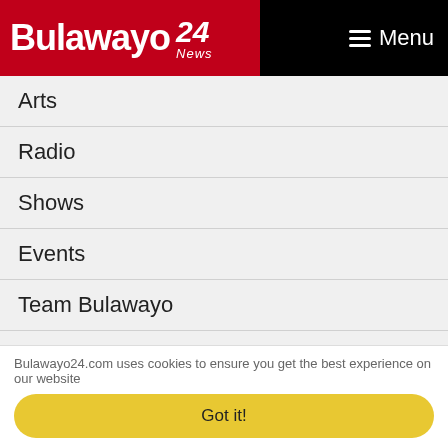Bulawayo 24 News — Menu
Arts
Radio
Shows
Events
Team Bulawayo
Weekend Guide
Technology
Motors
Camera
Internet
Bulawayo24.com uses cookies to ensure you get the best experience on our website
Got it!